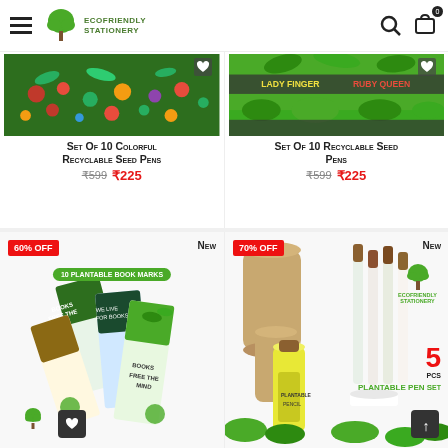EcoFriendly Stationery — navigation header with hamburger menu, logo, search and cart (0 items)
[Figure (photo): Product image for Set of 10 Colorful Recyclable Seed Pens — top of page, left column, showing colorful seed pens]
Set Of 10 Colorful Recyclable Seed Pens
₹599  ₹225
[Figure (photo): Product image for Set of 10 Recyclable Seed Pens — top of page, right column, showing LADY FINGER / RUBY QUEEN label]
Set Of 10 Recyclable Seed Pens
₹599  ₹225
[Figure (photo): Product for 10 Plantable Book Marks — 60% OFF badge, NEW label, showing bookmarks with botanical designs]
[Figure (photo): Product for Plantable Pen Set — 70% OFF badge, NEW label, 5 PCS PLANTABLE PEN SET, eco-friendly stationery logo visible]